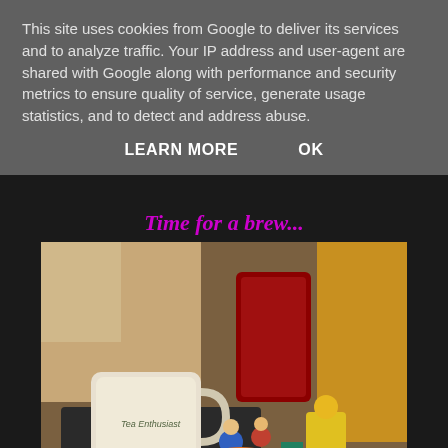This site uses cookies from Google to deliver its services and to analyze traffic. Your IP address and user-agent are shared with Google along with performance and security metrics to ensure quality of service, generate usage statistics, and to detect and address abuse.
LEARN MORE    OK
Time for a brew...
[Figure (photo): A tea mug labeled 'Tea Enthusiast' on a coaster surrounded by small figurines and toy characters, with a red glittery lantern and a yellow bottle/container in the background.]
Puts on the tea.
I gives hubby a sloppy wet one when he came home.
Tea is served.
[Figure (photo): Partial bottom image showing food items, appears to be a plate with yellow/green items.]